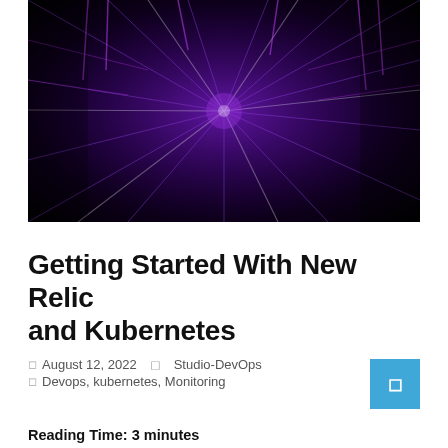[Figure (photo): Dark purple/black abstract cityscape with glowing purple neon light rays radiating outward from center, futuristic tech-themed image]
Getting Started With New Relic and Kubernetes
August 12, 2022  Studio-DevOps  Devops, kubernetes, Monitoring
Reading Time: 3 minutes